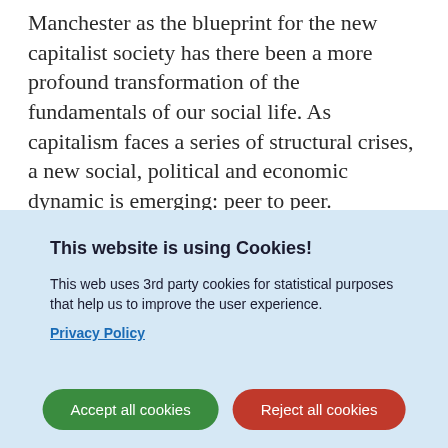Manchester as the blueprint for the new capitalist society has there been a more profound transformation of the fundamentals of our social life. As capitalism faces a series of structural crises, a new social, political and economic dynamic is emerging: peer to peer.
What is peer to peer? Why is it essential for building a commons-centric future? How could this happen? These are the questions this book tries to answer. Peer to peer is a type
This website is using Cookies!
This web uses 3rd party cookies for statistical purposes that help us to improve the user experience.
Privacy Policy